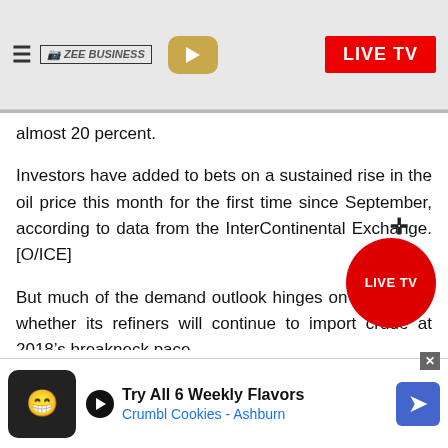ZEE BUSINESS | LIVE TV
almost 20 percent.
Investors have added to bets on a sustained rise in the oil price this month for the first time since September, according to data from the InterContinental Exchange. [O/ICE]
But much of the demand outlook hinges on China and whether its refiners will continue to import crude at 2018’s breakneck pace.
Industrial companies in China reported a second monthly fall in earnings in December, despite the
go nd inv
[Figure (other): Advertisement banner: Try All 6 Weekly Flavors - Crumbl Cookies - Ashburn]